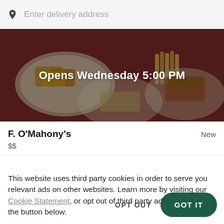Enter delivery address
[Figure (photo): Restaurant food photo with dishes including fried foods and sides on a dark red background, overlaid with semi-transparent darkening layer. Text overlay reads 'Opens Wednesday 5:00 PM']
Opens Wednesday 5:00 PM
F. O'Mahony's
New
$$
This website uses third party cookies in order to serve you relevant ads on other websites. Learn more by visiting our Cookie Statement, or opt out of third party ad cookies using the button below.
OPT OUT
GOT IT